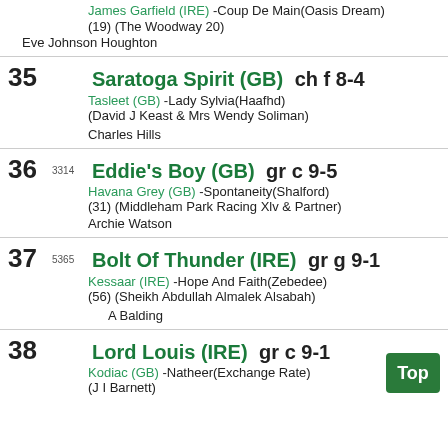James Garfield (IRE) -Coup De Main(Oasis Dream)
(19) (The Woodway 20)
Eve Johnson Houghton
35  Saratoga Spirit (GB)  ch f 8-4
Tasleet (GB) -Lady Sylvia(Haafhd)
(David J Keast & Mrs Wendy Soliman)
Charles Hills
36  3314  Eddie's Boy (GB)  gr c 9-5
Havana Grey (GB) -Spontaneity(Shalford)
(31) (Middleham Park Racing Xlv & Partner)
Archie Watson
37  5365  Bolt Of Thunder (IRE)  gr g 9-1
Kessaar (IRE) -Hope And Faith(Zebedee)
(56) (Sheikh Abdullah Almalek Alsabah)
A Balding
38  Lord Louis (IRE)  gr c 9-1
Kodiac (GB) -Natheer(Exchange Rate)
(J I Barnett)